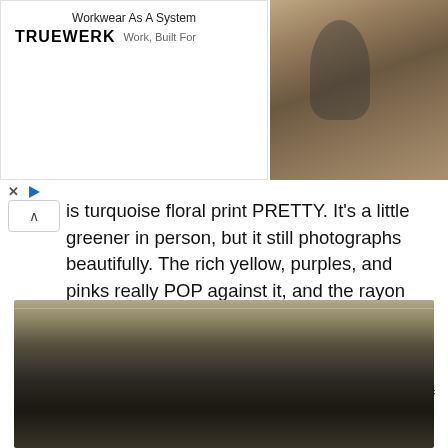[Figure (photo): Advertisement banner for TRUEWERK showing a man working outdoors, with text 'Workwear As A System' and 'Work, Built For']
is turquoise floral print PRETTY. It's a little greener in person, but it still photographs beautifully. The rich yellow, purples, and pinks really POP against it, and the rayon crepe has just enough texture to make the fabric feel really vintage. In fact, with the separate belt and decorative buttons down the front, this one looks like it's straight out of the 1940s. I busted out the Remix Rita repro slingbacks and my Bakelite and the effect is pretty authentic.
[Figure (photo): Photo of a person with dark hair, outdoors with string lights and wooden fence visible in background]